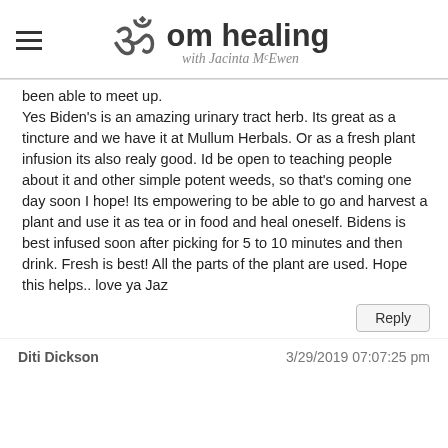om healing with Jacinta McEwen
been able to meet up.
Yes Biden's is an amazing urinary tract herb. Its great as a tincture and we have it at Mullum Herbals. Or as a fresh plant infusion its also realy good. Id be open to teaching people about it and other simple potent weeds, so that's coming one day soon I hope! Its empowering to be able to go and harvest a plant and use it as tea or in food and heal oneself. Bidens is best infused soon after picking for 5 to 10 minutes and then drink. Fresh is best! All the parts of the plant are used. Hope this helps.. love ya Jaz
Reply
Diti Dickson
3/29/2019 07:07:25 pm